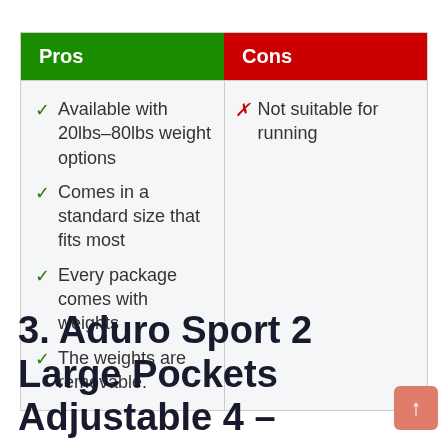| Pros | Cons |
| --- | --- |
| ✓ Available with 20lbs-80lbs weight options | ✗ Not suitable for running |
| ✓ Comes in a standard size that fits most |  |
| ✓ Every package comes with weights |  |
| ✓ The weights are removable. |  |
3. Aduro Sport 2 Large Pockets Adjustable 4 –